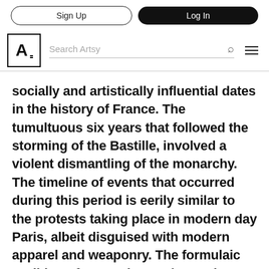Sign Up | Log In | Search Artsy
socially and artistically influential dates in the history of France. The tumultuous six years that followed the storming of the Bastille, involved a violent dismantling of the monarchy. The timeline of events that occurred during this period is eerily similar to the protests taking place in modern day Paris, albeit disguised with modern apparel and weaponry. The formulaic tradition of protesting see\ms to be a part of French culture; everyday citizens rising up to fight